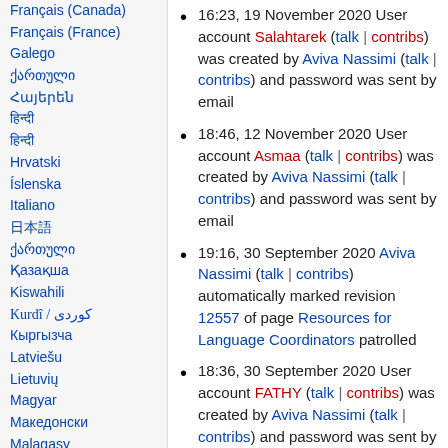Français (Canada)
Français (France)
Galego
ქართული (Georgian script)
Հայերեն
हिन्दी
हिन्दी (Devanagari)
Hrvatski
Íslenska
Italiano
日本語
ქართული
Қазақша
Kiswahili
Kurdî / کوردی
Кыргызча
Latviešu
Lietuvių
Magyar
Македонски
Malagasy
മലയാളം
मराठी
16:23, 19 November 2020 User account Salahtarek (talk | contribs) was created by Aviva Nassimi (talk | contribs) and password was sent by email
18:46, 12 November 2020 User account Asmaa (talk | contribs) was created by Aviva Nassimi (talk | contribs) and password was sent by email
19:16, 30 September 2020 Aviva Nassimi (talk | contribs) automatically marked revision 12557 of page Resources for Language Coordinators patrolled
18:36, 30 September 2020 User account FATHY (talk | contribs) was created by Aviva Nassimi (talk | contribs) and password was sent by email